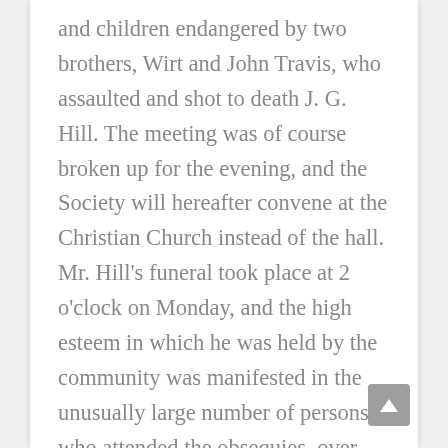and children endangered by two brothers, Wirt and John Travis, who assaulted and shot to death J. G. Hill. The meeting was of course broken up for the evening, and the Society will hereafter convene at the Christian Church instead of the hall. Mr. Hill's funeral took place at 2 o'clock on Monday, and the high esteem in which he was held by the community was manifested in the unusually large number of persons who attended the obsequies, over three hundred persons escorting his remains to the grave. He was a kind hearted man; one who was